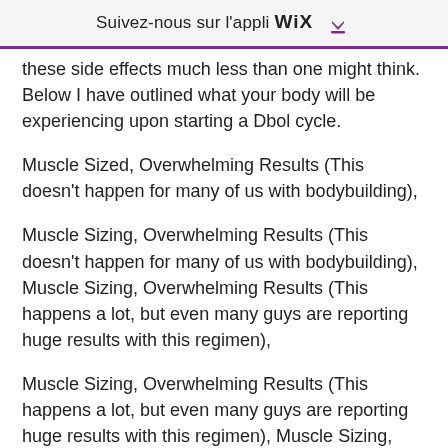Suivez-nous sur l'appli WIX ⬇
these side effects much less than one might think. Below I have outlined what your body will be experiencing upon starting a Dbol cycle.
Muscle Sized, Overwhelming Results (This doesn't happen for many of us with bodybuilding),
Muscle Sizing, Overwhelming Results (This doesn't happen for many of us with bodybuilding), Muscle Sizing, Overwhelming Results (This happens a lot, but even many guys are reporting huge results with this regimen),
Muscle Sizing, Overwhelming Results (This happens a lot, but even many guys are reporting huge results with this regimen), Muscle Sizing, Overwhelming Results (This